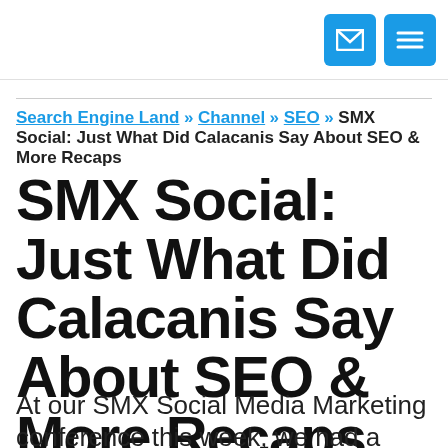[email icon] [menu icon]
Search Engine Land » Channel » SEO » SMX Social: Just What Did Calacanis Say About SEO & More Recaps
SMX Social: Just What Did Calacanis Say About SEO & More Recaps
At our SMX Social Media Marketing conference this week, we had a great panel on the future of human powered